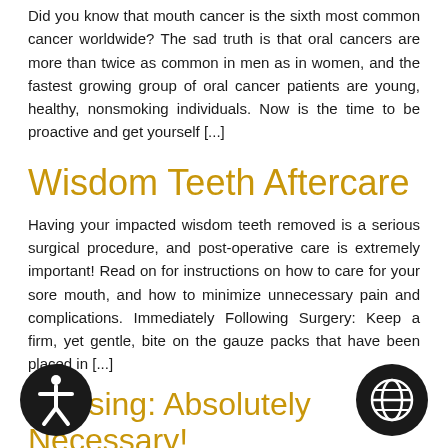Did you know that mouth cancer is the sixth most common cancer worldwide? The sad truth is that oral cancers are more than twice as common in men as in women, and the fastest growing group of oral cancer patients are young, healthy, nonsmoking individuals. Now is the time to be proactive and get yourself [...]
Wisdom Teeth Aftercare
Having your impacted wisdom teeth removed is a serious surgical procedure, and post-operative care is extremely important! Read on for instructions on how to care for your sore mouth, and how to minimize unnecessary pain and complications. Immediately Following Surgery: Keep a firm, yet gentle, bite on the gauze packs that have been placed in [...]
Flossing: Absolutely Necessary!
Yes, You Still Have to Floss. No, the dance move "flossing" does